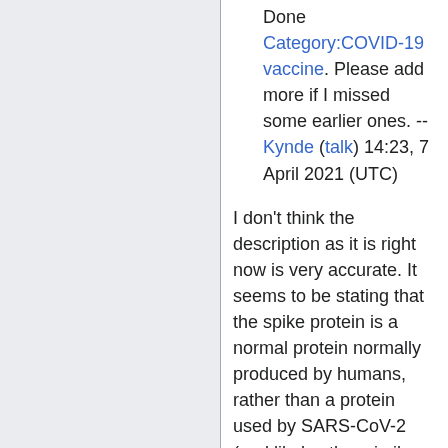Done Category:COVID-19 vaccine. Please add more if I missed some earlier ones. --Kynde (talk) 14:23, 7 April 2021 (UTC)
I don't think the description as it is right now is very accurate. It seems to be stating that the spike protein is a normal protein normally produced by humans, rather than a protein used by SARS-CoV-2 (and likely other similar viruses (virii?) to aid in their infection. In this case, beret guy has gotten an MRNA vaccine (either Moderna or Pfizer), so has given his cells the recipe to make this spike protein for